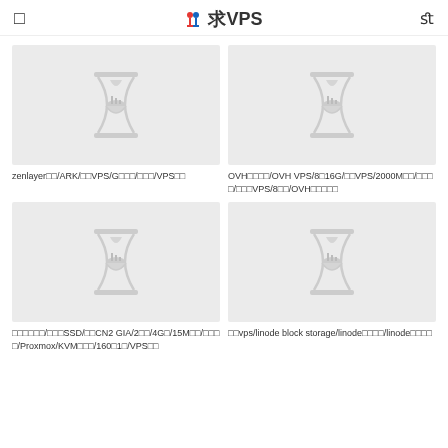求VPS
[Figure (illustration): Placeholder image with hourglass icon for zenlayer article]
zenlayer□□/ARK/□□VPS/G□□□/□□□/VPS□□
[Figure (illustration): Placeholder image with hourglass icon for OVH article]
OVH□□□□/OVH VPS/8□16G/□□VPS/2000M□□/□□□□/□□□VPS/8□□/OVH□□□□□
[Figure (illustration): Placeholder image with hourglass icon for CN2 GIA article]
□□□□□□/□□□SSD/□□CN2 GIA/2□□/4G□/15M□□/□□□□/Proxmox/KVM□□□/160□1□/VPS□□
[Figure (illustration): Placeholder image with hourglass icon for linode article]
□□vps/linode block storage/linode□□□□/linode□□□□